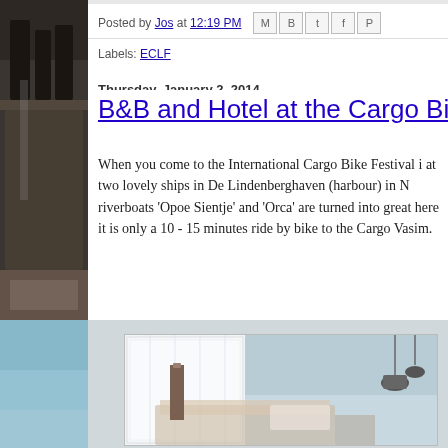[Figure (photo): Left sidebar showing urban scene with bicycles and brick building (top), and blue sky (bottom)]
Posted by Jos at 12:19 PM [share icons: email, blog, twitter, facebook, pinterest]
Labels: ECLF
Thursday, January 2, 2014
B&B and Hotel at the Cargo Bike Fest...
When you come to the International Cargo Bike Festival i... at two lovely ships in De Lindenberghaven (harbour) in N... riverboats ‘Opoe Sientje’ and ‘Orca’ are turned into great... here it is only a 10 - 15 minutes ride by bike to the Cargo... Vasim.
[Figure (photo): Interior of a ship cabin/hotel room with white paneled walls, hanging lamp, and candle]